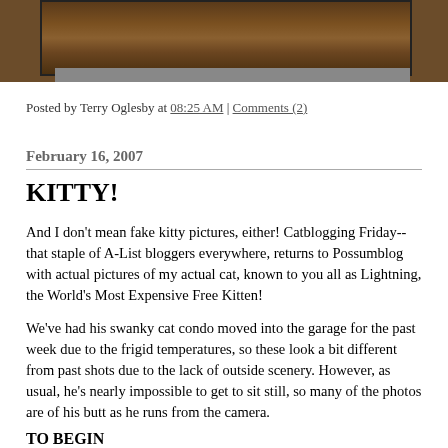[Figure (photo): Partial view of a cat photograph at the top of the page, showing brown/reddish fur texture, framed with a dark border and gray shadow beneath]
Posted by Terry Oglesby at 08:25 AM | Comments (2)
February 16, 2007
KITTY!
And I don't mean fake kitty pictures, either! Catblogging Friday--that staple of A-List bloggers everywhere, returns to Possumblog with actual pictures of my actual cat, known to you all as Lightning, the World's Most Expensive Free Kitten!
We've had his swanky cat condo moved into the garage for the past week due to the frigid temperatures, so these look a bit different from past shots due to the lack of outside scenery. However, as usual, he's nearly impossible to get to sit still, so many of the photos are of his butt as he runs from the camera.
TO BEGIN